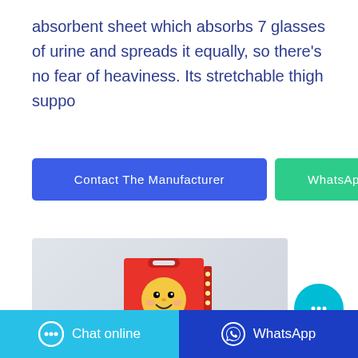absorbent sheet which absorbs 7 glasses of urine and spreads it equally, so there's no fear of heaviness. Its stretchable thigh suppo
[Figure (other): Two buttons side by side: a blue 'Contact The Manufacturer' button and a green 'WhatsApp' button]
[Figure (photo): Product image of Bubu Bear Baby-Dry Diapers box (red box) on a light grey background]
[Figure (other): Floating cyan circular chat bubble icon button on the right side]
[Figure (other): Bottom action bar with two buttons: cyan 'Chat online' button on left and dark blue 'WhatsApp' button on right]